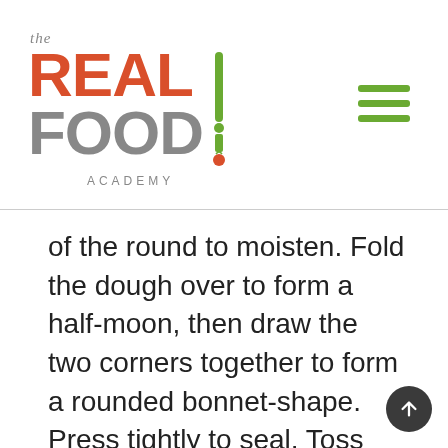[Figure (logo): The Real Food Academy logo with red REAL text, grey FOOD text, green knife illustration, and ACADEMY text below]
of the round to moisten. Fold the dough over to form a half-moon, then draw the two corners together to form a rounded bonnet-shape. Press tightly to seal. Toss with flour, set aside on well-floured baking sheet, and cover. Repeat with remaining pieces of dough, re-rolling the scraps.